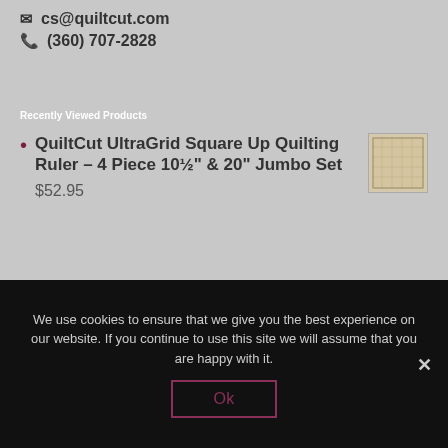cs@quiltcut.com
(360) 707-2828
Recently Viewed Products
QuiltCut UltraGrid Square Up Quilting Ruler – 4 Piece 10½" & 20" Jumbo Set $52.95
[Figure (photo): Small thumbnail image of the QuiltCut UltraGrid quilting ruler product]
We use cookies to ensure that we give you the best experience on our website. If you continue to use this site we will assume that you are happy with it.